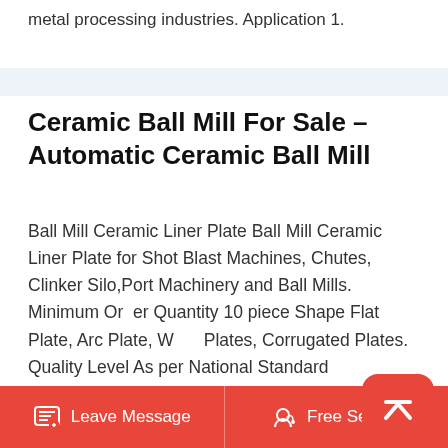metal processing industries. Application 1.
Ceramic Ball Mill For Sale – Automatic Ceramic Ball Mill
Ball Mill Ceramic Liner Plate Ball Mill Ceramic Liner Plate for Shot Blast Machines, Chutes, Clinker Silo,Port Machinery and Ball Mills. Minimum Order Quantity 10 piece Shape Flat Plate, Arc Plate, Wear Plates, Corrugated Plates. Quality Level As per National Standard Internat.The ball mills consist of .0312" (1 32") .0625" (1 16") and .125" (1 8"). The chamfer-mills come in 60 , 90 , and 120 . The ball mills will leave a radius, where the chamfer-mills will leave a "V" profile. Both leave very nice crisp engravings. We will be Figure 5. High performance ball
Leave Message   Free Service